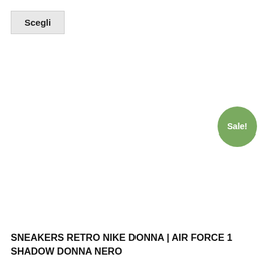Scegli
[Figure (other): Green circular sale badge with text 'Sale!']
SNEAKERS RETRO NIKE DONNA | AIR FORCE 1 SHADOW DONNA NERO